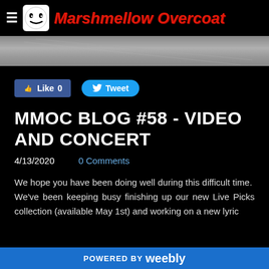Marshmellow Overcoat
[Figure (photo): Gray banner/header image, appears to be a photograph of a surface, used as decorative header]
[Figure (other): Facebook Like button showing 0 likes, and Twitter Tweet button]
MMOC BLOG #58 - VIDEO AND CONCERT
4/13/2020   0 Comments
We hope you have been doing well during this difficult time. We've been keeping busy finishing up our new Live Picks collection (available May 1st) and working on a new lyric
POWERED BY weebly